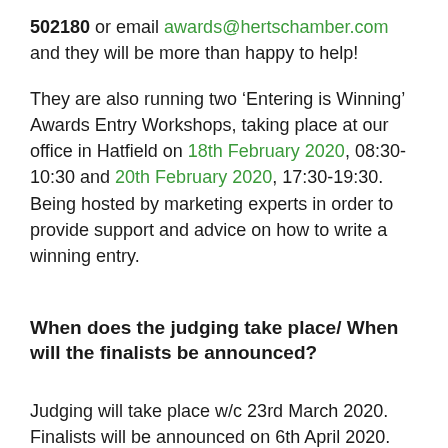502180 or email awards@hertschamber.com and they will be more than happy to help!
They are also running two 'Entering is Winning' Awards Entry Workshops, taking place at our office in Hatfield on 18th February 2020, 08:30-10:30 and 20th February 2020, 17:30-19:30.
Being hosted by marketing experts in order to provide support and advice on how to write a winning entry.
When does the judging take place/ When will the finalists be announced?
Judging will take place w/c 23rd March 2020. Finalists will be announced on 6th April 2020.